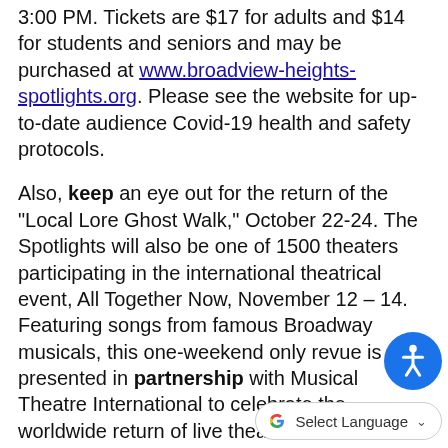3:00 PM.  Tickets are $17 for adults and $14 for students and seniors and may be purchased at www.broadview-heights-spotlights.org.  Please see the website for up-to-date audience Covid-19 health and safety protocols.
Also, keep an eye out for the return of the "Local Lore Ghost Walk," October 22-24.  The Spotlights will also be one of 1500 theaters participating in the international theatrical event, All Together Now, November 12 – 14.  Featuring songs from famous Broadway musicals, this one-weekend only revue is presented in partnership with Musical Theatre International to celebrate the worldwide return of live theater.
[Figure (other): Blue circular accessibility icon button with a person/wheelchair symbol in white]
[Figure (other): Google Translate Select Language dropdown button with Google G logo and chevron]